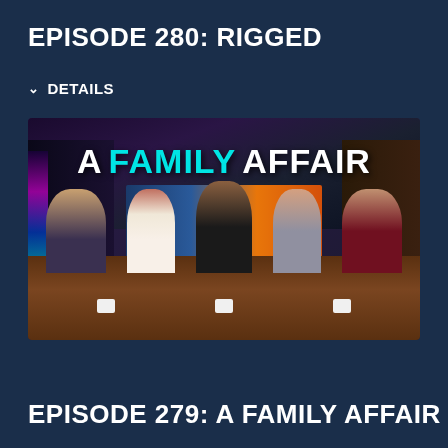EPISODE 280: RIGGED
DETAILS
[Figure (photo): TV show thumbnail for 'A Family Affair' Episode 279. Five people seated at a studio desk in a TV studio. Text overlay reads 'A FAMILY AFFAIR' with 'FAMILY' in cyan and 'EP. 279' in smaller text.]
EPISODE 279: A FAMILY AFFAIR